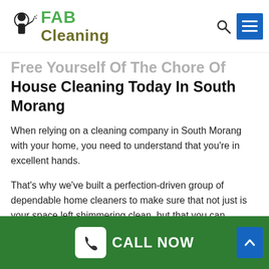FAB Cleaning
Free Yourself Of The Chore Of House Cleaning Today In South Morang
When relying on a cleaning company in South Morang with your home, you need to understand that you’re in excellent hands.
That’s why we’ve built a perfection-driven group of dependable home cleaners to make sure that not just is your space left shimmering clean, but that you can depend upon professional service whenever.
Get A High-Quality Cleaning Services At The
CALL NOW